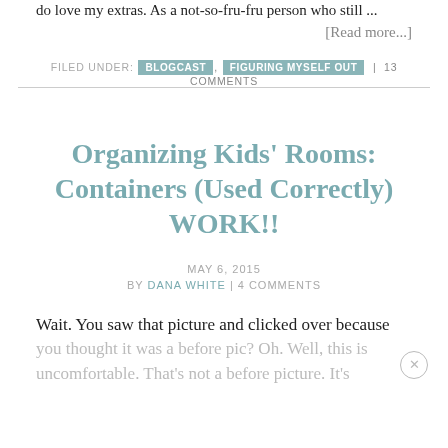do love my extras. As a not-so-fru-fru person who still ... [Read more...]
FILED UNDER: BLOGCAST, FIGURING MYSELF OUT | 13 COMMENTS
Organizing Kids' Rooms: Containers (Used Correctly) WORK!!
MAY 6, 2015
BY DANA WHITE | 4 COMMENTS
Wait. You saw that picture and clicked over because you thought it was a before pic? Oh. Well, this is uncomfortable. That's not a before picture. It's